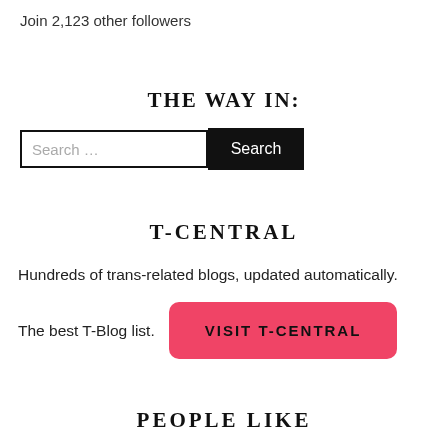Join 2,123 other followers
THE WAY IN:
[Figure (screenshot): Search bar with text input placeholder 'Search ...' and black 'Search' button]
T-CENTRAL
Hundreds of trans-related blogs, updated automatically.
The best T-Blog list.
[Figure (screenshot): Pink rounded button with text 'VISIT T-CENTRAL']
PEOPLE LIKE